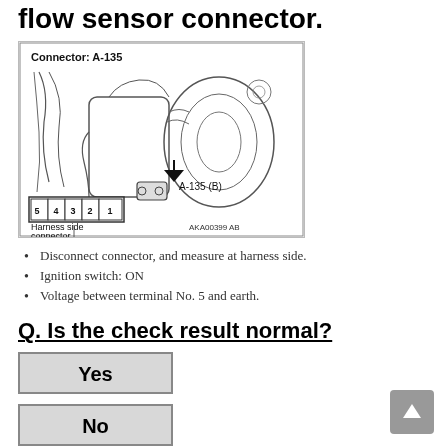flow sensor connector.
[Figure (engineering-diagram): Engine bay diagram showing connector A-135 location with harness side connector labeled with terminals 5 4 3 2 1, arrow pointing to A-135 (B) connector. Reference code AKA00399AB.]
Disconnect connector, and measure at harness side.
Ignition switch: ON
Voltage between terminal No. 5 and earth.
Q. Is the check result normal?
Yes
No